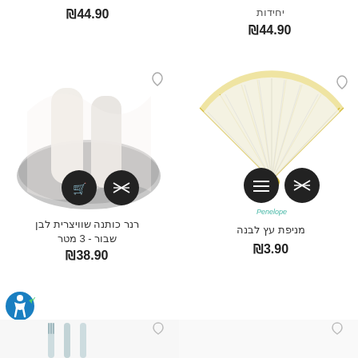₪44.90
יחידות
₪44.90
[Figure (photo): Rolled white tulle fabric on a gray plate, with shopping cart and shuffle buttons]
[Figure (photo): White and gold wooden hand fan, with menu and shuffle buttons, Penelope label]
רנר כותנה שוויצרית לבן שבור - 3 מטר
₪38.90
מניפת עץ לבנה
₪3.90
[Figure (photo): Partial view of light blue cutlery at bottom left]
[Figure (photo): Partial view of item at bottom right]